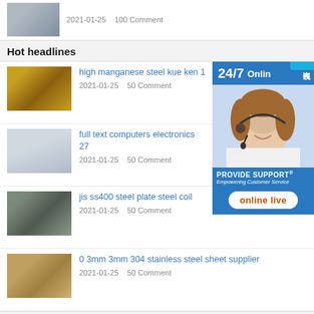[Figure (photo): Thumbnail image of steel rolls, date 2021-01-25, 100 Comment]
2021-01-25    100 Comment
Hot headlines
[Figure (photo): Thumbnail of yellow steel coils in warehouse]
high manganese steel kue ken 1
2021-01-25    50 Comment
[Figure (photo): Thumbnail of flat steel sheet]
full text computers electronics 27
2021-01-25    50 Comment
[Figure (photo): Thumbnail of stacked steel plates]
jis ss400 steel plate steel coil
2021-01-25    50 Comment
[Figure (photo): Thumbnail of stainless steel sheets]
0 3mm 3mm 304 stainless steel sheet supplier
2021-01-25    50 Comment
[Figure (infographic): 24/7 Online support ad with customer service representative photo and online live chat button. Chinese text 在线咨询 (online consultation). PROVIDE SUPPORT Empowering Customer Service.]
recent articles
gb t700 q235a hr plate